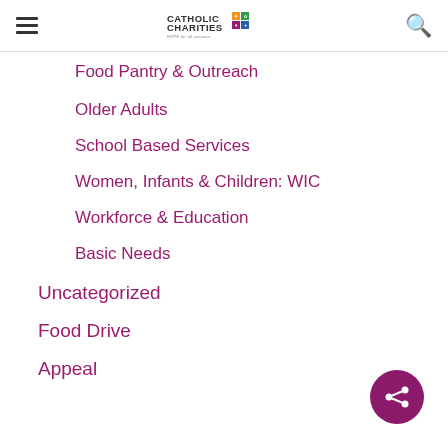Catholic Charities – HOPE for all seasons
Food Pantry & Outreach
Older Adults
School Based Services
Women, Infants & Children: WIC
Workforce & Education
Basic Needs
Uncategorized
Food Drive
Appeal